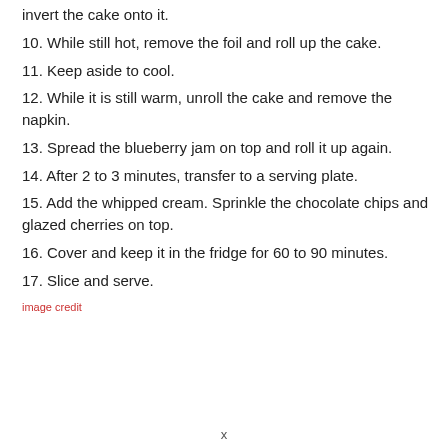invert the cake onto it.
10. While still hot, remove the foil and roll up the cake.
11. Keep aside to cool.
12. While it is still warm, unroll the cake and remove the napkin.
13. Spread the blueberry jam on top and roll it up again.
14. After 2 to 3 minutes, transfer to a serving plate.
15. Add the whipped cream. Sprinkle the chocolate chips and glazed cherries on top.
16. Cover and keep it in the fridge for 60 to 90 minutes.
17. Slice and serve.
image credit
x